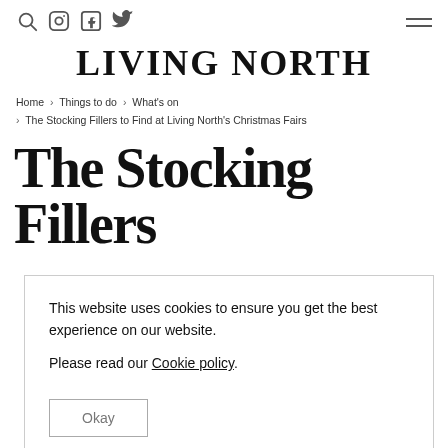Living North — navigation icons (search, instagram, facebook, twitter) and hamburger menu
Living North
Home > Things to do > What's on > The Stocking Fillers to Find at Living North's Christmas Fairs
The Stocking Fillers
This website uses cookies to ensure you get the best experience on our website. Please read our Cookie policy. Okay